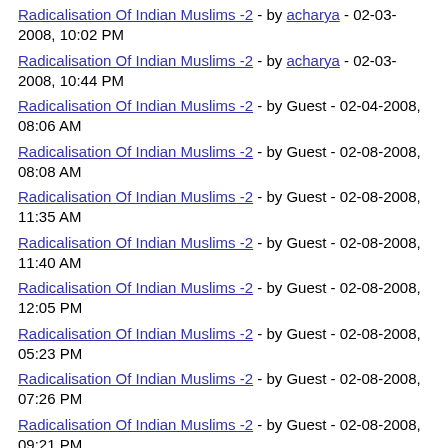Radicalisation Of Indian Muslims -2 - by acharya - 02-03-2008, 10:02 PM
Radicalisation Of Indian Muslims -2 - by acharya - 02-03-2008, 10:44 PM
Radicalisation Of Indian Muslims -2 - by Guest - 02-04-2008, 08:06 AM
Radicalisation Of Indian Muslims -2 - by Guest - 02-08-2008, 08:08 AM
Radicalisation Of Indian Muslims -2 - by Guest - 02-08-2008, 11:35 AM
Radicalisation Of Indian Muslims -2 - by Guest - 02-08-2008, 11:40 AM
Radicalisation Of Indian Muslims -2 - by Guest - 02-08-2008, 12:05 PM
Radicalisation Of Indian Muslims -2 - by Guest - 02-08-2008, 05:23 PM
Radicalisation Of Indian Muslims -2 - by Guest - 02-08-2008, 07:26 PM
Radicalisation Of Indian Muslims -2 - by Guest - 02-08-2008, 09:21 PM
Radicalisation Of Indian Muslims -2 - by Guest - 02-08-2008, 10:16 PM
Radicalisation Of Indian Muslims -2 - by acharya - 02-08-2008, 11:06 PM
Radicalisation Of Indian Muslims -2 - by Guest - 02-10-2008, ...